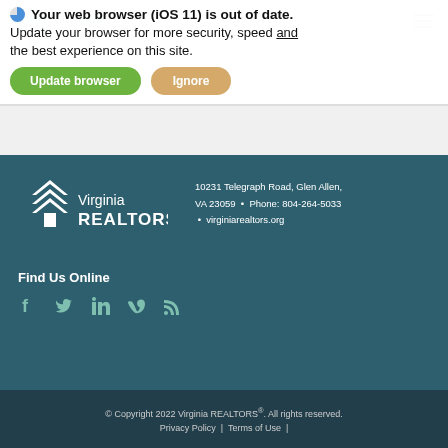[Figure (screenshot): Browser update notification banner with 'Update browser' green button and 'Ignore' tan button, overlapping a Virginia REALTORS website header with Learning Center text]
[Figure (logo): Virginia REALTORS logo in white on dark teal footer background, with two chevron arrows above a house outline, beside text 'Virginia REALTORS']
10231 Telegraph Road, Glen Allen, VA 23059  •  Phone: 804-264-5033 • virginiarealtors.org
Find Us Online
[Figure (infographic): Social media icons: Facebook, Twitter, LinkedIn, Vimeo, RSS feed — displayed in teal color]
© Copyright 2022 Virginia REALTORS®. All rights reserved.
Privacy Policy | Terms of Use |